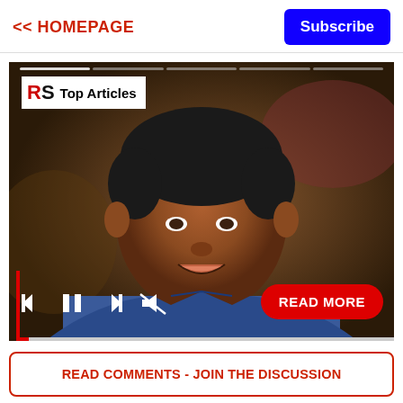<< HOMEPAGE
Subscribe
[Figure (screenshot): Video player screenshot showing a man being interviewed, with RS Top Articles badge overlay, video controls (skip back, pause, skip forward, mute), a READ MORE red button, and a progress bar at top]
READ COMMENTS - JOIN THE DISCUSSION